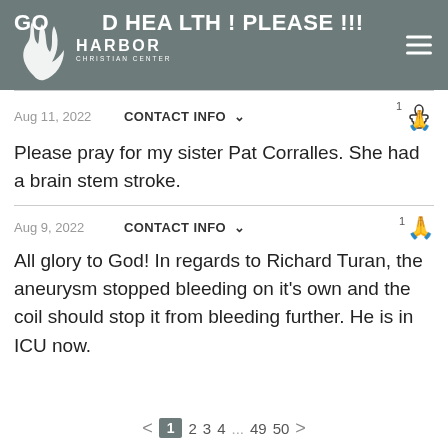GOOD HEALTH! PLEASE!!! — Harbor Christian Center
Aug 11, 2022 — CONTACT INFO — 1 [prayer hands]
Please pray for my sister Pat Corralles. She had a brain stem stroke.
Aug 9, 2022 — CONTACT INFO — 1 [prayer hands]
All glory to God! In regards to Richard Turan, the aneurysm stopped bleeding on it's own and the coil should stop it from bleeding further. He is in ICU now.
< 1 2 3 4 ... 49 50 >